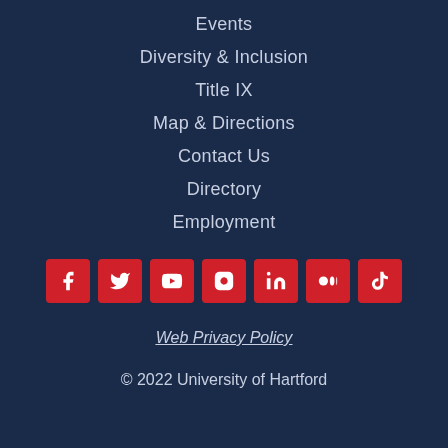Events
Diversity & Inclusion
Title IX
Map & Directions
Contact Us
Directory
Employment
[Figure (infographic): Social media icons row: Facebook, Twitter, YouTube, Instagram, LinkedIn, Medium, TikTok — each as white icon on red square button]
Web Privacy Policy
© 2022 University of Hartford